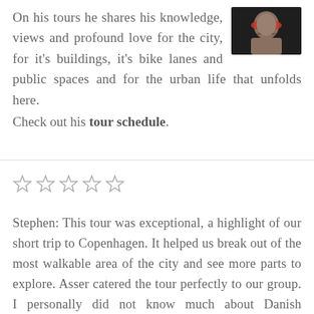[Figure (photo): Photo of a man's face, close-up, wearing a red/dark hat, dark background]
On his tours he shares his knowledge, views and profound love for the city, for it's buildings, it's bike lanes and public spaces and for the urban life that unfolds here. Check out his tour schedule.
[Figure (other): Five empty star rating icons]
Stephen: This tour was exceptional, a highlight of our short trip to Copenhagen. It helped us break out of the most walkable area of the city and see more parts to explore. Asser catered the tour perfectly to our group. I personally did not know much about Danish architecture or even Denmark,